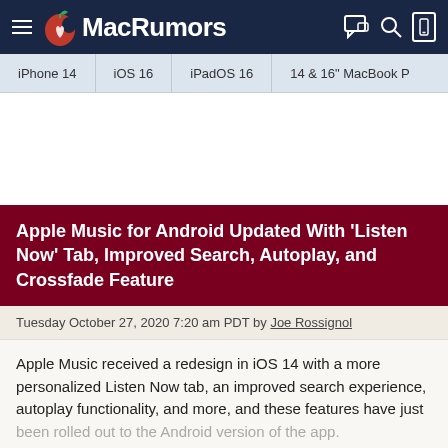MacRumors
iPhone 14 | iOS 16 | iPadOS 16 | 14 & 16" MacBook P
Apple Music for Android Updated With 'Listen Now' Tab, Improved Search, Autoplay, and Crossfade Feature
Tuesday October 27, 2020 7:20 am PDT by Joe Rossignol
Apple Music received a redesign in iOS 14 with a more personalized Listen Now tab, an improved search experience, autoplay functionality, and more, and these features have just been rolled out to the Android version of the app.